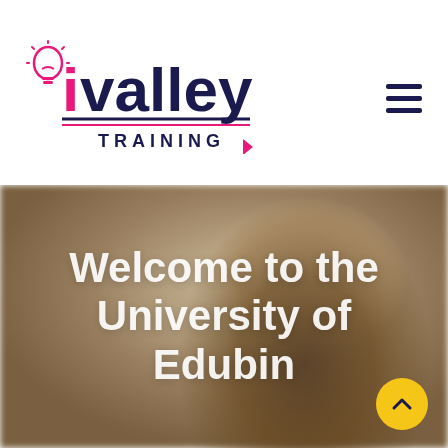[Figure (logo): iValley Training logo with lightbulb icon, pink and navy text]
[Figure (photo): Young man wearing headphones and yellow sweater, looking down, with blurred building background. Overlay text reads: Welcome to the University of Edubin]
Welcome to the University of Edubin